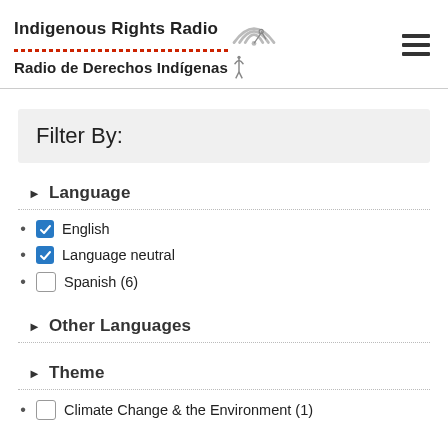Indigenous Rights Radio / Radio de Derechos Indígenas
Filter By:
Language
English (checked)
Language neutral (checked)
Spanish (6) (unchecked)
Other Languages
Theme
Climate Change & the Environment (1) (unchecked)